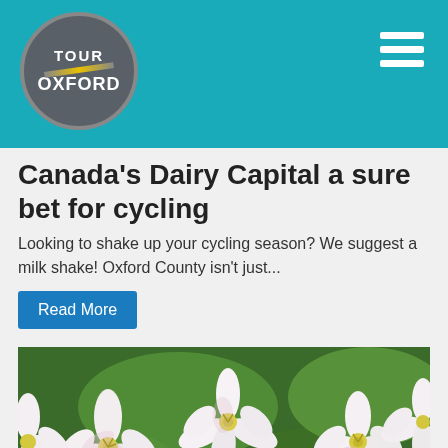Tour Oxford
Canada's Dairy Capital a sure bet for cycling
Looking to shake up your cycling season?  We suggest a milk shake!  Oxford County isn't just...
Read More
[Figure (photo): White and pink clematis flowers with green leaves, photographed close-up in natural light.]